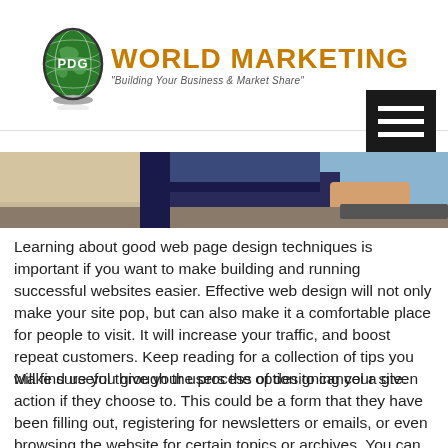PDG WORLD MARKETING - Building Your Business & Market Share
[Figure (photo): Header image showing a person sitting at a desk, partially cropped, with a keyboard visible]
Learning about good web page design techniques is important if you want to make building and running successful websites easier. Effective web design will not only make your site pop, but can also make it a comfortable place for people to visit. It will increase your traffic, and boost repeat customers. Keep reading for a collection of tips you will find useful through the process of designing your site.
Make sure you give your users the option to cancel a given action if they choose to. This could be a form that they have been filling out, registering for newsletters or emails, or even browsing the website for certain topics or archives. You can deter people from coming back to your site if you don't allow them